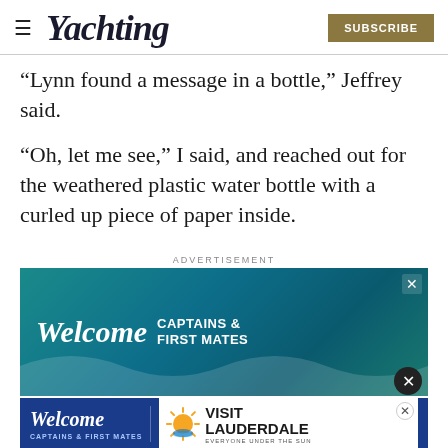Yachting  SUBSCRIBE
“Lynn found a message in a bottle,” Jeffrey said.
“Oh, let me see,” I said, and reached out for the weathered plastic water bottle with a curled up piece of paper inside.
ADVERTISEMENT
[Figure (photo): Advertisement banner for Welcome Captains & First Mates featuring teal ocean background]
[Figure (photo): Second advertisement bar: Welcome Captains & First Mates / Visit Lauderdale Everyone Under the Sun]